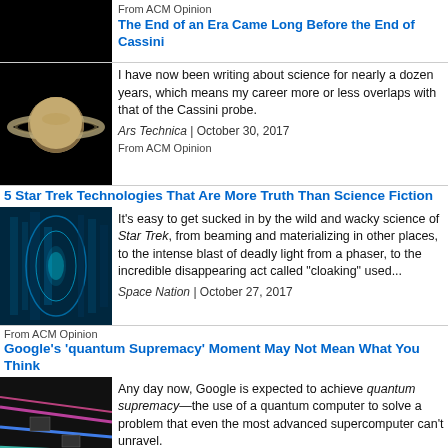From ACM Opinion
The End of an Era Came Long Before the End of Cassini
[Figure (photo): Image of Saturn with rings against black space]
I have now been writing about science for nearly a dozen years, which means my career more or less overlaps with that of the Cassini probe.
Ars Technica | October 30, 2017
From ACM Opinion
5 Star Trek Technologies That Are More Truth Than Science Fiction
[Figure (photo): Blue glowing technology interior image]
It's easy to get sucked in by the wild and wacky science of Star Trek, from beaming and materializing in other places, to the intense blast of deadly light from a phaser, to the incredible disappearing act called "cloaking" used...
Space Nation | October 27, 2017
From ACM Opinion
Google's 'quantum Supremacy' Moment May Not Mean What You Think
[Figure (photo): Colorful quantum computing hardware photo]
Any day now, Google is expected to achieve quantum supremacy—the use of a quantum computer to solve a problem that even the most advanced supercomputer can't unravel.
Bloomberg | October 26, 2017
From ACM Opinion
Fiction That Gets AI Right
[Figure (photo): Purple/dark colored AI themed image]
Even the most futuristic applications of AI, from robotic...